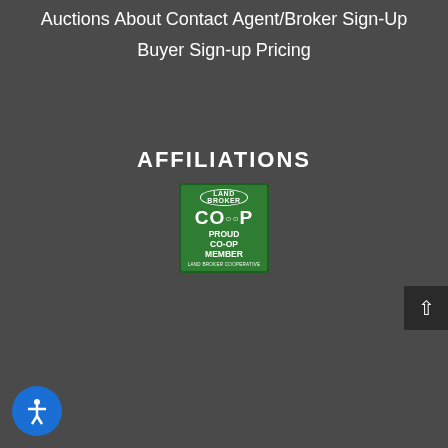Auctions
About
Contact
Agent/Broker Sign-Up
Buyer Sign-up
Pricing
AFFILIATIONS
[Figure (logo): Land Broker Co-op Proud Co-Op Member badge, green square badge with white text and circular logo at top]